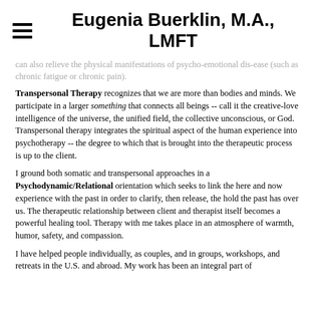Eugenia Buerklin, M.A., LMFT
can also relieve the physical manifestations of psycho-emotional dis-ease (such as chronic fatigue or chronic pain).
Transpersonal Therapy recognizes that we are more than bodies and minds. We participate in a larger something that connects all beings -- call it the creative-love intelligence of the universe, the unified field, the collective unconscious, or God. Transpersonal therapy integrates the spiritual aspect of the human experience into psychotherapy -- the degree to which that is brought into the therapeutic process is up to the client.
I ground both somatic and transpersonal approaches in a Psychodynamic/Relational orientation which seeks to link the here and now experience with the past in order to clarify, then release, the hold the past has over us. The therapeutic relationship between client and therapist itself becomes a powerful healing tool. Therapy with me takes place in an atmosphere of warmth, humor, safety, and compassion.
I have helped people individually, as couples, and in groups, workshops, and retreats in the U.S. and abroad. My work has been an integral part of